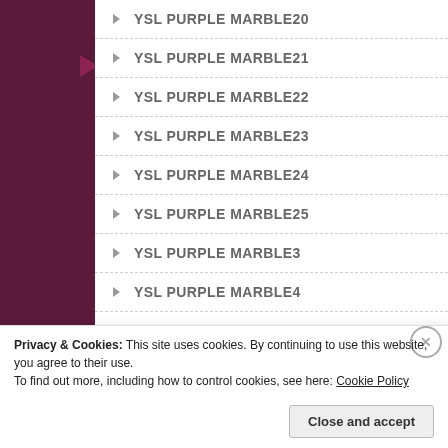YSL PURPLE MARBLE20
YSL PURPLE MARBLE21
YSL PURPLE MARBLE22
YSL PURPLE MARBLE23
YSL PURPLE MARBLE24
YSL PURPLE MARBLE25
YSL PURPLE MARBLE3
YSL PURPLE MARBLE4
YSL PURPLE MARBLE5
YSL PURPLE MARBLE6
YSL PURPLE MARBLE7
Privacy & Cookies: This site uses cookies. By continuing to use this website, you agree to their use. To find out more, including how to control cookies, see here: Cookie Policy
Close and accept